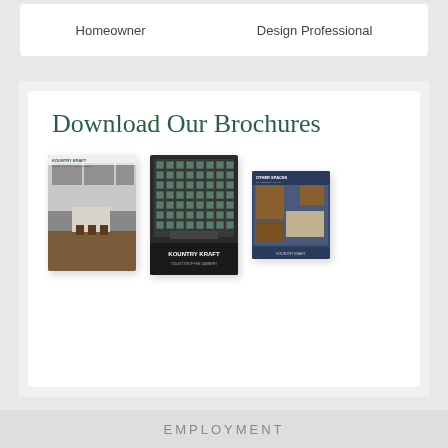Homeowner
Design Professional
Download Our Brochures
[Figure (photo): Three Kountry Kraft brochure covers: a gray kitchen catalog, a dark backsplash catalog, and a wood cabinet other spaces brochure]
EMPLOYMENT